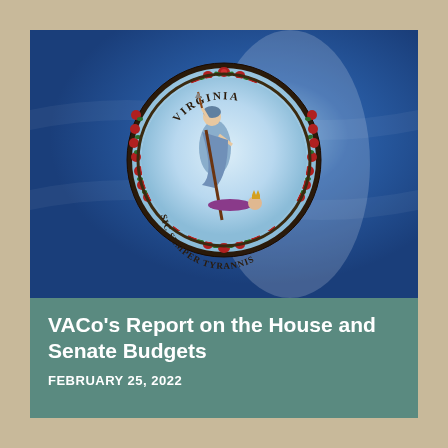[Figure (illustration): Virginia state flag with the state seal centered on a blue background with white light streak. The seal shows Virtus standing over a defeated king, surrounded by a red flower and green leaf border, with 'VIRGINIA' text at top and 'SIC SEMPER TYRANNIS' text at bottom.]
VACo's Report on the House and Senate Budgets
FEBRUARY 25, 2022